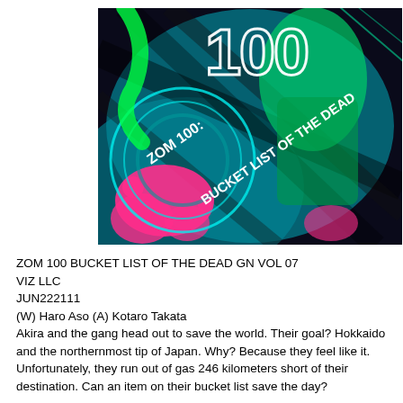[Figure (illustration): Colorful manga cover art for 'ZOM 100: BUCKET LIST OF THE DEAD' featuring vibrant neon colors (teal, pink, green, black) with a character and zombie imagery. Large '100' text visible at top, with the series title displayed prominently.]
ZOM 100 BUCKET LIST OF THE DEAD GN VOL 07
VIZ LLC
JUN222111
(W) Haro Aso (A) Kotaro Takata
Akira and the gang head out to save the world. Their goal? Hokkaido and the northernmost tip of Japan. Why? Because they feel like it. Unfortunately, they run out of gas 246 kilometers short of their destination. Can an item on their bucket list save the day?